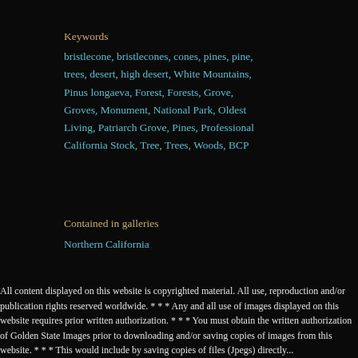Keywords
bristlecone, bristlecones, cones, pines, pine, trees, desert, high desert, White Mountains, Pinus longaeva, Forest, Forests, Grove, Groves, Monument, National Park, Oldest Living, Patriarch Grove, Pines, Professional California Stock, Tree, Trees, Woods, BCP
Contained in galleries
Northern California
All content displayed on this website is copyrighted material. All use, reproduction and/or publication rights reserved worldwide. * * * Any and all use of images displayed on this website requires prior written authorization. * * * You must obtain the written authorization of Golden State Images prior to downloading and/or saving copies of images from this website. * * * This would include by saving copies of files (Jpegs) directly...